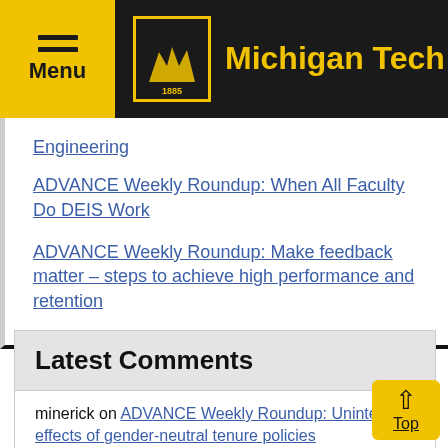Menu | Michigan Tech
Engineering
ADVANCE Weekly Roundup: When All Faculty Do DEIS Work
ADVANCE Weekly Roundup: Make feedback matter – steps to achieve high performance and retention
Latest Comments
minerick on ADVANCE Weekly Roundup: Unintended effects of gender-neutral tenure policies
Tamara Olson on ADVANCE Weekly Roundup: